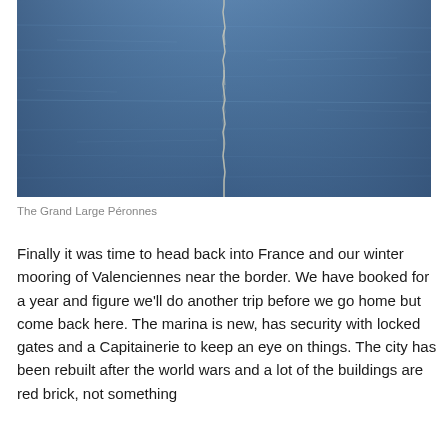[Figure (photo): Photograph of blue water with a chain or rope hanging vertically into it, reflecting on a calm water surface.]
The Grand Large Péronnes
Finally it was time to head back into France and our winter mooring of Valenciennes near the border. We have booked for a year and figure we'll do another trip before we go home but come back here. The marina is new, has security with locked gates and a Capitainerie to keep an eye on things. The city has been rebuilt after the world wars and a lot of the buildings are red brick, not something